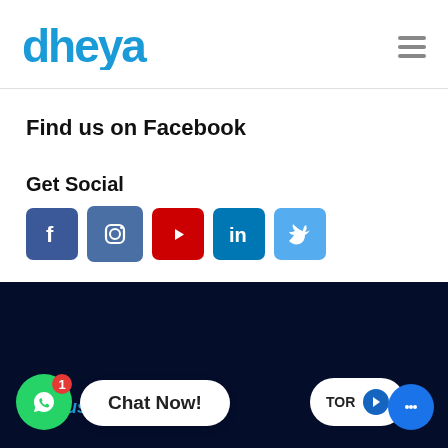[Figure (logo): Dheya logo in blue stylized text]
Find us on Facebook
Get Social
[Figure (infographic): Social media icons: Facebook, Instagram, YouTube, LinkedIn, Twitter]
Join us
[Figure (screenshot): WhatsApp chat button with badge '1' and 'Chat Now!' bubble, partial ECTOR button, and chat widget icon]